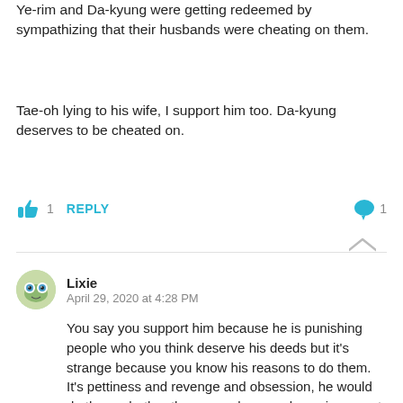Ye-rim and Da-kyung were getting redeemed by sympathizing that their husbands were cheating on them.
Tae-oh lying to his wife, I support him too. Da-kyung deserves to be cheated on.
Lixie
April 29, 2020 at 4:28 PM

You say you support him because he is punishing people who you think deserve his deeds but it's strange because you know his reasons to do them. It's pettiness and revenge and obsession, he would do them whether these people were deserving or not.
Je-hyuk was forgiven by his wife, his request to not have children was very wrong because he